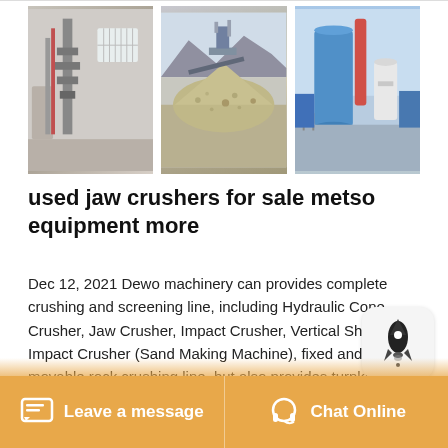[Figure (photo): Three industrial photos side by side: left shows interior of factory with equipment, center shows pile of crushed stone aggregate with machinery, right shows blue industrial silos/tanks outdoors]
used jaw crushers for sale metso equipment more
Dec 12, 2021 Dewo machinery can provides complete crushing and screening line, including Hydraulic Cone Crusher, Jaw Crusher, Impact Crusher, Vertical Shaft Impact Crusher (Sand Making Machine), fixed and movable rock crushing line, but also provides turnkey project for cement production line, ore beneficiation production line and drying production line. Dec 03, 2021 Grassy Creek Quarry...
Leave a message   Chat Online